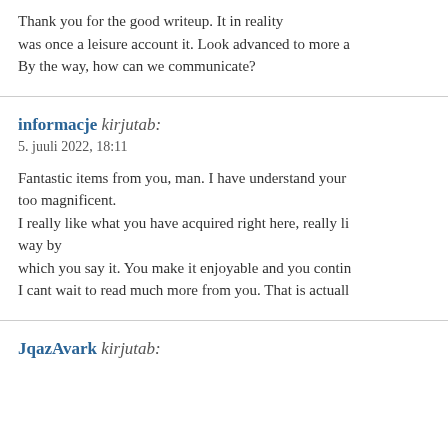Thank you for the good writeup. It in reality was once a leisure account it. Look advanced to more a By the way, how can we communicate?
informacje kirjutab:
5. juuli 2022, 18:11

Fantastic items from you, man. I have understand your too magnificent.
I really like what you have acquired right here, really li way by
which you say it. You make it enjoyable and you contin I cant wait to read much more from you. That is actuall
JqazAvark kirjutab: